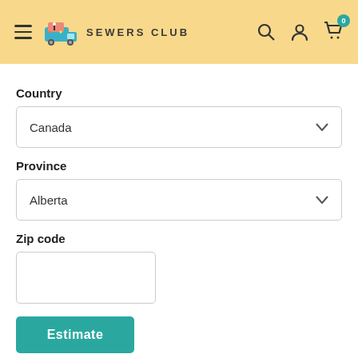SEWERS CLUB
Country
Canada
Province
Alberta
Zip code
Estimate